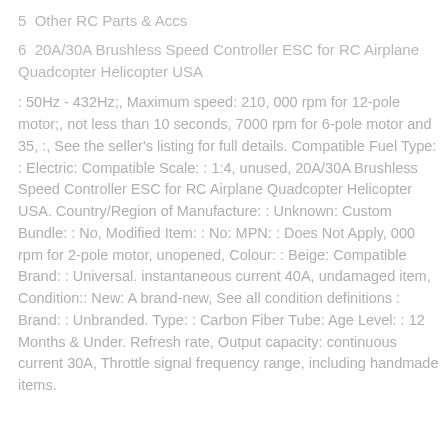5  Other RC Parts & Accs
6  20A/30A Brushless Speed Controller ESC for RC Airplane Quadcopter Helicopter USA
: 50Hz - 432Hz;, Maximum speed: 210, 000 rpm for 12-pole motor;, not less than 10 seconds, 7000 rpm for 6-pole motor and 35, :, See the seller's listing for full details. Compatible Fuel Type: : Electric: Compatible Scale: : 1:4, unused, 20A/30A Brushless Speed Controller ESC for RC Airplane Quadcopter Helicopter USA. Country/Region of Manufacture: : Unknown: Custom Bundle: : No, Modified Item: : No: MPN: : Does Not Apply, 000 rpm for 2-pole motor, unopened, Colour: : Beige: Compatible Brand: : Universal. instantaneous current 40A, undamaged item, Condition:: New: A brand-new, See all condition definitions : Brand: : Unbranded. Type: : Carbon Fiber Tube: Age Level: : 12 Months & Under. Refresh rate, Output capacity: continuous current 30A, Throttle signal frequency range, including handmade items.